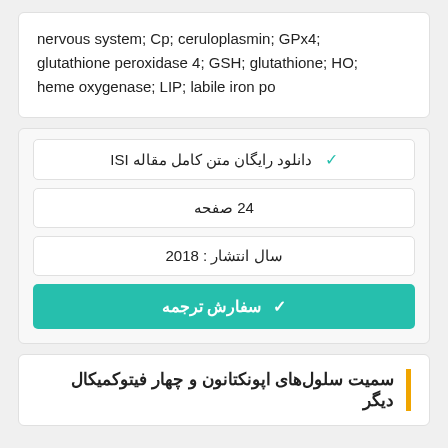nervous system; Cp; ceruloplasmin; GPx4; glutathione peroxidase 4; GSH; glutathione; HO; heme oxygenase; LIP; labile iron po
✓ دانلود رایگان متن کامل مقاله ISI
24 صفحه
سال انتشار : 2018
✓ سفارش ترجمه
سمیت سلول‌های اپونکتانون و چهار فیتوکمیکال دیگر